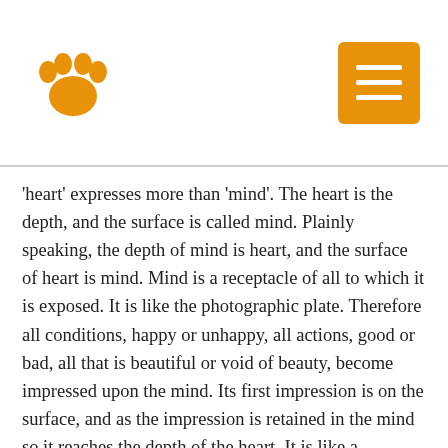[Figure (logo): Orange paw print logo in the top left corner]
[Figure (other): Orange square menu button with three horizontal white lines (hamburger menu) in the top right corner]
'heart' expresses more than 'mind'. The heart is the depth, and the surface is called mind. Plainly speaking, the depth of mind is heart, and the surface of heart is mind. Mind is a receptacle of all to which it is exposed. It is like the photographic plate. Therefore all conditions, happy or unhappy, all actions, good or bad, all that is beautiful or void of beauty, become impressed upon the mind. Its first impression is on the surface, and as the impression is retained in the mind so it reaches the depth of the heart. It is like a photographic plate. Once it is developed, the impression becomes clear and deeply engraved. But the photographic plate is not creative and the heart is creative. Therefore every impression which once reaches the heart becomes as a seed in a fertile ground. The heart